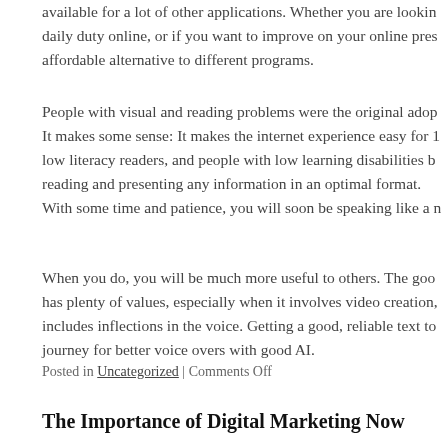available for a lot of other applications. Whether you are looking for daily duty online, or if you want to improve on your online presence, affordable alternative to different programs.
People with visual and reading problems were the original adopters. It makes some sense: It makes the internet experience easy for low literacy readers, and people with low learning disabilities by reading and presenting any information in an optimal format. With some time and patience, you will soon be speaking like a native.
When you do, you will be much more useful to others. The good has plenty of values, especially when it involves video creation, includes inflections in the voice. Getting a good, reliable text to journey for better voice overs with good AI.
Posted in Uncategorized | Comments Off
The Importance of Digital Marketing Now